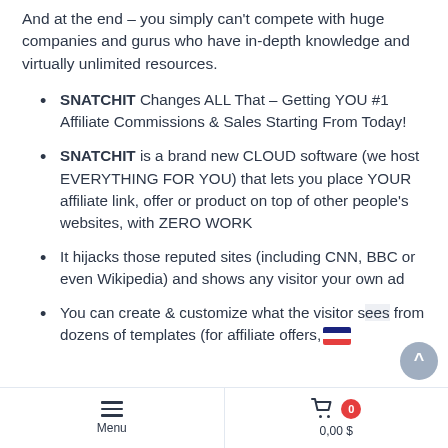And at the end – you simply can't compete with huge companies and gurus who have in-depth knowledge and virtually unlimited resources.
SNATCHIT Changes ALL That – Getting YOU #1 Affiliate Commissions & Sales Starting From Today!
SNATCHIT is a brand new CLOUD software (we host EVERYTHING FOR YOU) that lets you place YOUR affiliate link, offer or product on top of other people's websites, with ZERO WORK
It hijacks those reputed sites (including CNN, BBC or even Wikipedia) and shows any visitor your own ad
You can create & customize what the visitor sees from dozens of templates (for affiliate offers,
Menu   0   0,00 $